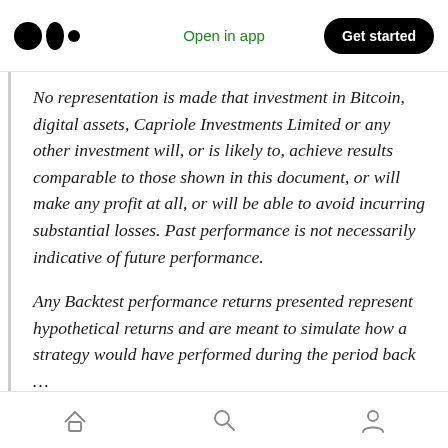Open in app | Get started
No representation is made that investment in Bitcoin, digital assets, Capriole Investments Limited or any other investment will, or is likely to, achieve results comparable to those shown in this document, or will make any profit at all, or will be able to avoid incurring substantial losses. Past performance is not necessarily indicative of future performance.
Any Backtest performance returns presented represent hypothetical returns and are meant to simulate how a strategy would have performed during the period...
Home | Search | Profile